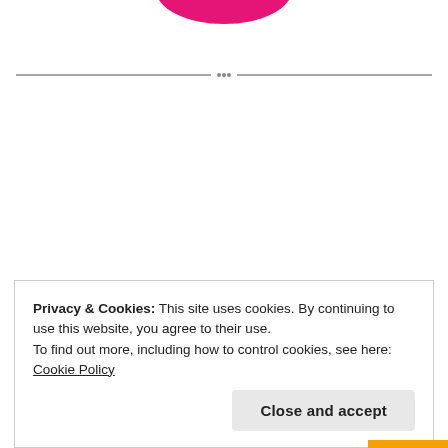[Figure (logo): Partial pink/magenta logo visible at top center of page, cropped at top edge]
[Figure (other): Horizontal gray divider line with small dotted center element separating header from body]
[Figure (other): Circular loading spinner (gray dashes arranged in a circle) in center of page]
Privacy & Cookies: This site uses cookies. By continuing to use this website, you agree to their use.
To find out more, including how to control cookies, see here: Cookie Policy
Close and accept